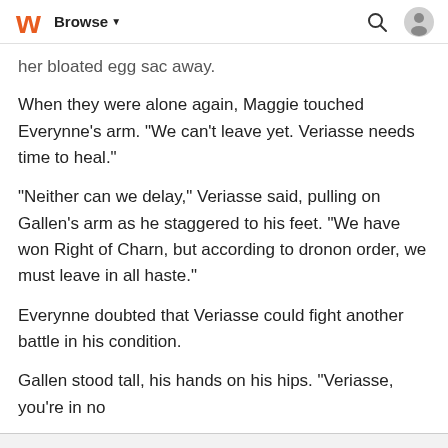Browse
her bloated egg sac away.
When they were alone again, Maggie touched Everynne's arm. "We can't leave yet. Veriasse needs time to heal."
"Neither can we delay," Veriasse said, pulling on Gallen's arm as he staggered to his feet. "We have won Right of Charn, but according to dronon order, we must leave in all haste."
Everynne doubted that Veriasse could fight another battle in his condition.
Gallen stood tall, his hands on his hips. "Veriasse, you're in no
Wattpad App - Read, Write, Connect
Start Reading
Log in with Browser